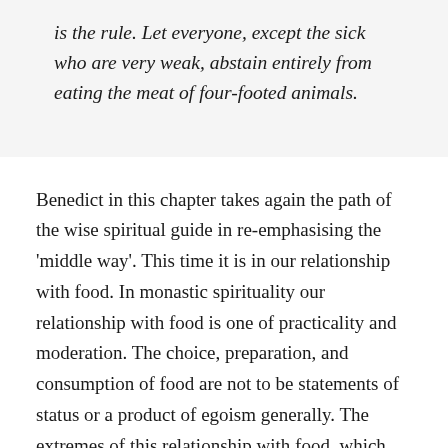is the rule. Let everyone, except the sick who are very weak, abstain entirely from eating the meat of four-footed animals.
Benedict in this chapter takes again the path of the wise spiritual guide in re-emphasising the 'middle way'. This time it is in our relationship with food. In monastic spirituality our relationship with food is one of practicality and moderation. The choice, preparation, and consumption of food are not to be statements of status or a product of egoism generally. The extremes of this relationship with food, which could be seen today in the incidence of both anorexia and obesity, are to be avoided. A balanced spirituality is